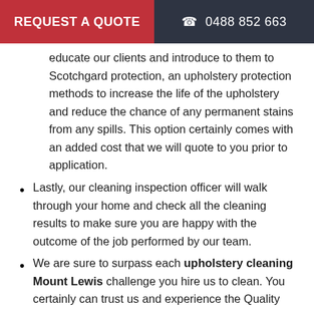REQUEST A QUOTE   ☎ 0488 852 663
educate our clients and introduce to them to Scotchgard protection, an upholstery protection methods to increase the life of the upholstery and reduce the chance of any permanent stains from any spills. This option certainly comes with an added cost that we will quote to you prior to application.
Lastly, our cleaning inspection officer will walk through your home and check all the cleaning results to make sure you are happy with the outcome of the job performed by our team.
We are sure to surpass each upholstery cleaning Mount Lewis challenge you hire us to clean. You certainly can trust us and experience the Quality